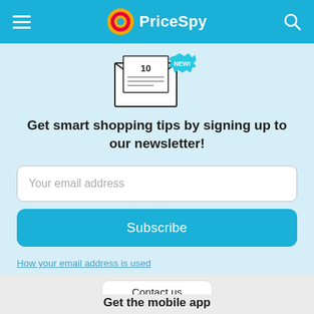PriceSpy
[Figure (illustration): Newsletter envelope illustration with '10' visible and a 'NEW!' starburst badge]
Get smart shopping tips by signing up to our newsletter!
Your email address (input field)
Subscribe (button)
How your email address is used
Contact us (button)
Get the mobile app